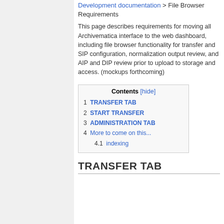Development documentation > File Browser Requirements
This page describes requirements for moving all Archivematica interface to the web dashboard, including file browser functionality for transfer and SIP configuration, normalization output review, and AIP and DIP review prior to upload to storage and access. (mockups forthcoming)
| Contents [hide] |
| --- |
| 1  TRANSFER TAB |
| 2  START TRANSFER |
| 3  ADMINISTRATION TAB |
| 4  More to come on this... |
| 4.1  indexing |
TRANSFER TAB